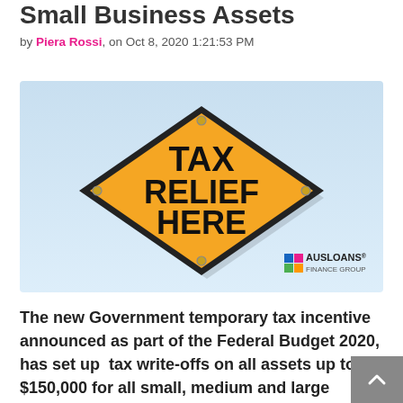Small Business Assets
by Piera Rossi, on Oct 8, 2020 1:21:53 PM
[Figure (photo): Yellow diamond-shaped road sign reading TAX RELIEF HERE on a light blue background, with Ausloans Finance Group logo in lower right corner]
The new Government temporary tax incentive announced as part of the Federal Budget 2020, has set up  tax write-offs on all assets up to $150,000 for all small, medium and large companies in Australia